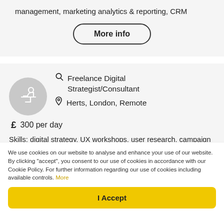management, marketing analytics & reporting, CRM
More info
Freelance Digital Strategist/Consultant
Herts, London, Remote
300 per day
Skills: digital strategy, UX workshops, user research, campaign & content strategy, content writing, data analysis, website project management
We use cookies on our website to analyse and enhance your use of our website. By clicking "accept", you consent to our use of cookies in accordance with our Cookie Policy. For further information regarding our use of cookies including available controls. More
I Accept